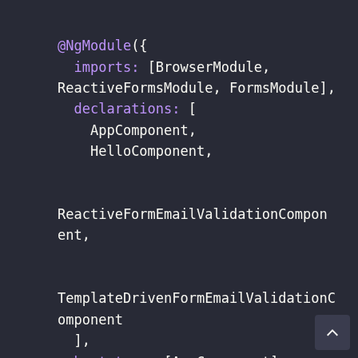[Figure (screenshot): Code editor screenshot showing Angular NgModule decorator with imports (BrowserModule, ReactiveFormsModule, FormsModule), declarations (AppComponent, HelloComponent, ReactiveFormEmailValidationComponent, TemplateDrivenFormEmailValidationComponent), bootstrap: [AppComponent], and export class AppModule {}]